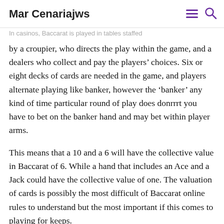with at land based on line casino
Mar Cenariajws
In casinos, Baccarat is played in tables staffed by a croupier, who directs the play within the game, and a dealers who collect and pay the players’ choices. Six or eight decks of cards are needed in the game, and players alternate playing like banker, however the ‘banker’ any kind of time particular round of play does donrrrt you have to bet on the banker hand and may bet within player arms.
This means that a 10 and a 6 will have the collective value in Baccarat of 6. While a hand that includes an Ace and a Jack could have the collective value of one. The valuation of cards is possibly the most difficult of Baccarat online rules to understand but the most important if this comes to playing for keeps.